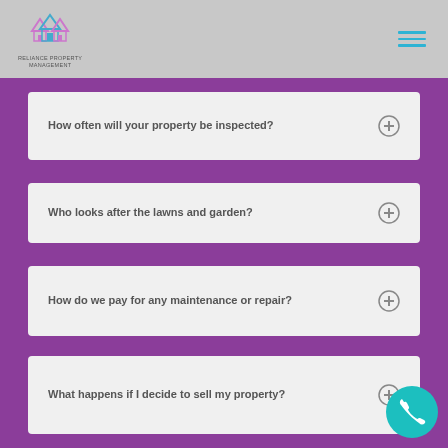Reliance Property Management
How often will your property be inspected?
Who looks after the lawns and garden?
How do we pay for any maintenance or repair?
What happens if I decide to sell my property?